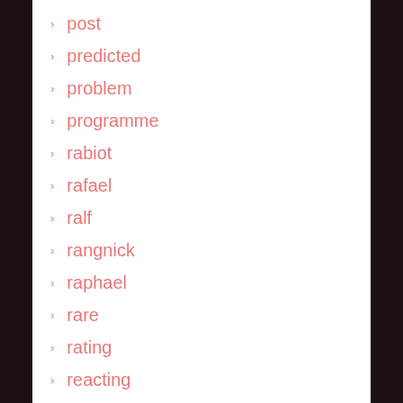post
predicted
problem
programme
rabiot
rafael
ralf
rangnick
raphael
rare
rating
reacting
real
reduced
revealed